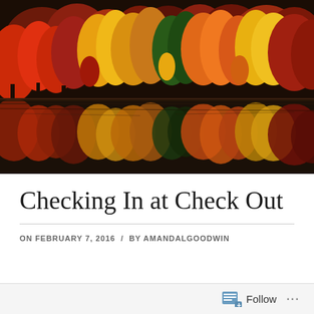[Figure (photo): Autumn foliage scene with vibrant red, orange, yellow and green trees reflected in a calm lake or river below. The reflection mirrors the colorful canopy above.]
Checking In at Check Out
ON FEBRUARY 7, 2016  /  BY AMANDALGOODWIN